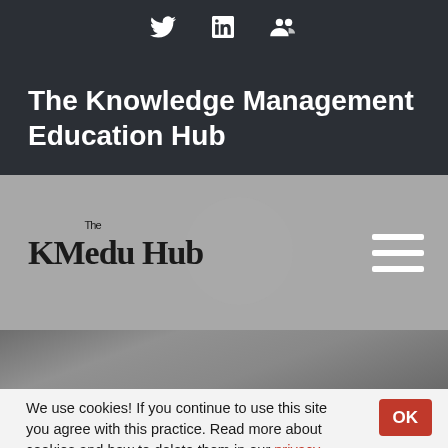[Figure (illustration): Social media icons: Twitter bird, LinkedIn 'in', and a group/people icon displayed in white on dark background]
The Knowledge Management Education Hub
[Figure (logo): KMedu Hub logo with stylized text 'KMedu Hub' with superscript 'The', alongside a faint circular watermark and hamburger menu icon]
[Figure (photo): Hero banner area — dark grey/brownish blurred background image]
We use cookies! If you continue to use this site you agree with this practice. Read more about cookies and how to delete them in our privacy policy